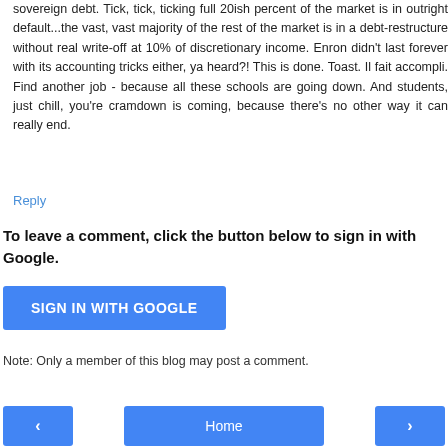sovereign debt. Tick, tick, ticking full 20ish percent of the market is in outright default...the vast, vast majority of the rest of the market is in a debt-restructure without real write-off at 10% of discretionary income. Enron didn't last forever with its accounting tricks either, ya heard?! This is done. Toast. Il fait accompli. Find another job - because all these schools are going down. And students, just chill, you're cramdown is coming, because there's no other way it can really end.
Reply
To leave a comment, click the button below to sign in with Google.
[Figure (other): Blue button labeled SIGN IN WITH GOOGLE]
Note: Only a member of this blog may post a comment.
[Figure (other): Navigation bar with left arrow button, Home button, and right arrow button]